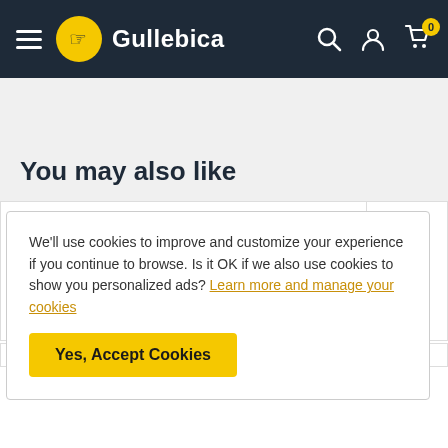Gullebica
You may also like
[Figure (photo): Product card showing orange tape measure partially visible]
[Figure (photo): Second product card showing orange tape measure partially visible on right edge]
We'll use cookies to improve and customize your experience if you continue to browse. Is it OK if we also use cookies to show you personalized ads? Learn more and manage your cookies
Yes, Accept Cookies